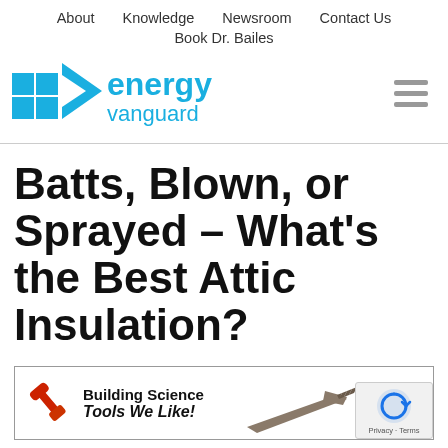About   Knowledge   Newsroom   Contact Us
Book Dr. Bailes
[Figure (logo): Energy Vanguard logo with blue arrow/house icon and blue text reading 'energy vanguard']
Batts, Blown, or Sprayed – What's the Best Attic Insulation?
[Figure (infographic): Building Science Tools We Like! banner with wrench and saw icons]